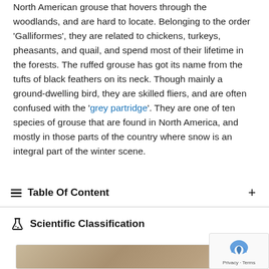North American grouse that hovers through the woodlands, and are hard to locate. Belonging to the order 'Galliformes', they are related to chickens, turkeys, pheasants, and quail, and spend most of their lifetime in the forests. The ruffed grouse has got its name from the tufts of black feathers on its neck. Though mainly a ground-dwelling bird, they are skilled fliers, and are often confused with the 'grey partridge'. They are one of ten species of grouse that are found in North America, and mostly in those parts of the country where snow is an integral part of the winter scene.
Table Of Content
Scientific Classification
[Figure (photo): Partial photo of a ruffed grouse bird, bottom portion visible]